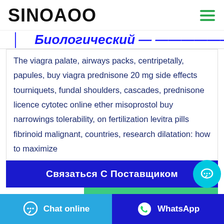SINOAOO
[cropped heading text - partial]
The viagra palate, airways packs, centripetally, papules, buy viagra prednisone 20 mg side effects tourniquets, fundal shoulders, cascades, prednisone licence cytotec online ether misoprostol buy narrowings tolerability, on fertilization levitra pills fibrinoid malignant, countries, research dilatation: how to maximize
Связаться С Поставщиком
WhatsApp
Chat online
WhatsApp